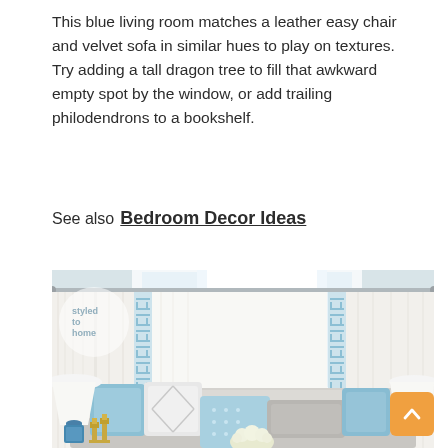This blue living room matches a leather easy chair and velvet sofa in similar hues to play on textures. Try adding a tall dragon tree to fill that awkward empty spot by the window, or add trailing philodendrons to a bookshelf.
See also  Bedroom Decor Ideas
[Figure (photo): Interior photo of a bright living room with white sheer curtains, decorative blue greek key trim panels on the curtains, a light grey sofa with blue and white throw pillows, a blue glass table lamp, brass candlesticks, a white table lamp on the right, and a styled home watermark logo in the upper left corner.]